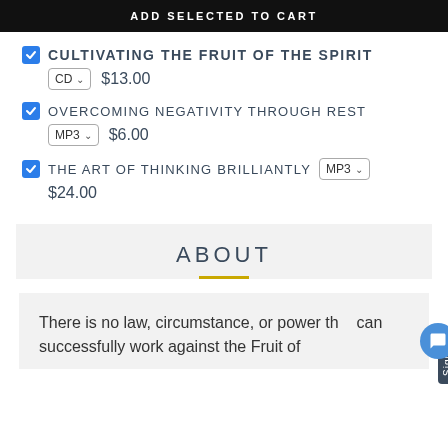ADD SELECTED TO CART
CULTIVATING THE FRUIT OF THE SPIRIT — CD — $13.00
OVERCOMING NEGATIVITY THROUGH REST — MP3 — $6.00
THE ART OF THINKING BRILLIANTLY — MP3 — $24.00
ABOUT
There is no law, circumstance, or power that can successfully work against the Fruit of